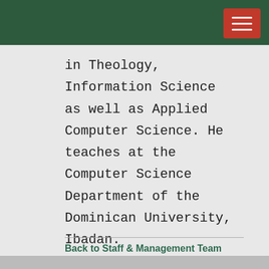in Theology, Information Science as well as Applied Computer Science. He teaches at the Computer Science Department of the Dominican University, Ibadan.
Back to Staff & Management Team
[Figure (screenshot): Social share buttons: Facebook, Twitter, Email, SMS, Share, WhatsApp]